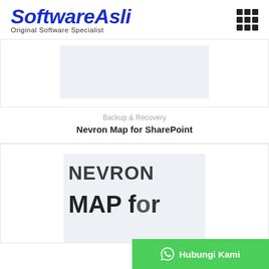SoftwareAsli – Original Software Specialist
[Figure (screenshot): Product card with light blue-grey placeholder image area for a software product]
Backup & Recovery
Nevron Map for SharePoint
[Figure (screenshot): Product image showing NEVRON MAP for SharePoint text in large bold dark letters on light background]
Hubungi Kami